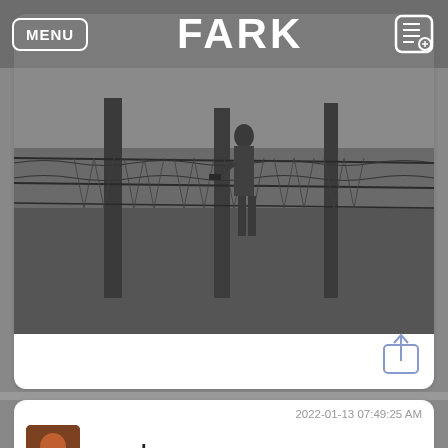MENU | FARK
[Figure (photo): Black and white photo of a person near a wire fence in a grassy field]
2022-01-13 07:49:25 AM
gorrck
[Figure (photo): Night time photo showing bright lights on poles with light trails/dots in the darkness]